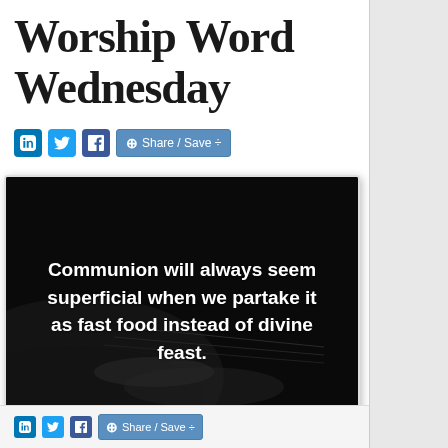Worship Word Wednesday
[Figure (illustration): Social media sharing icons: LinkedIn, Twitter, Facebook, and a Share/Save button]
[Figure (photo): Dark black-and-white image of a musical instrument (appears to be a record or violin) with white bold text overlay reading: 'Communion will always seem superficial when we partake it as fast food instead of divine feast.']
[Figure (illustration): Bottom social media sharing bar with LinkedIn, Twitter, Facebook icons and a Share/Save button]